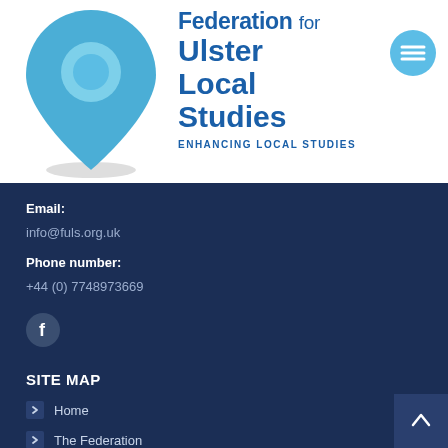[Figure (logo): Federation for Ulster Local Studies logo — a blue location pin / number 9 shape with a circular cutout, positioned on white background]
Federation for Ulster Local Studies
ENHANCING LOCAL STUDIES
Email:
info@fuls.org.uk
Phone number:
+44 (0) 7748973669
[Figure (logo): Facebook icon — white f letter inside a grey circle]
SITE MAP
Home
The Federation